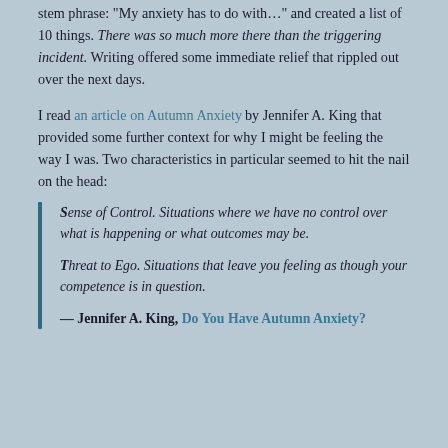stem phrase: "My anxiety has to do with…" and created a list of 10 things. There was so much more there than the triggering incident. Writing offered some immediate relief that rippled out over the next days.
I read an article on Autumn Anxiety by Jennifer A. King that provided some further context for why I might be feeling the way I was. Two characteristics in particular seemed to hit the nail on the head:
Sense of Control. Situations where we have no control over what is happening or what outcomes may be. Threat to Ego. Situations that leave you feeling as though your competence is in question.
— Jennifer A. King, Do You Have Autumn Anxiety?